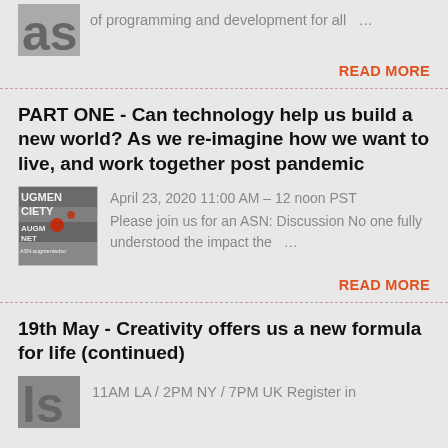of programming and development for all ...
READ MORE
PART ONE - Can technology help us build a new world? As we re-imagine how we want to live, and work together post pandemic
[Figure (photo): Thumbnail image with text AUGMENTED SOCIETY ASN:augmentedso]
April 23, 2020 11:00 AM – 12 noon PST
Please join us for an ASN: Discussion No one fully understood the impact the ...
READ MORE
19th May - Creativity offers us a new formula for life (continued)
[Figure (logo): Partial logo graphic at bottom]
11AM LA / 2PM NY / 7PM UK Register in